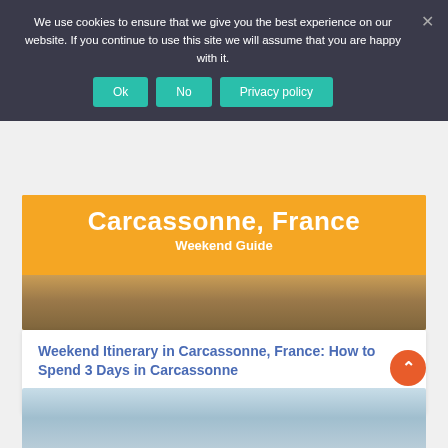We use cookies to ensure that we give you the best experience on our website. If you continue to use this site we will assume that you are happy with it.
Ok | No | Privacy policy
[Figure (illustration): Orange banner with text Carcassonne, France Weekend Guide, with a rooftop cityscape photo strip below]
Weekend Itinerary in Carcassonne, France: How to Spend 3 Days in Carcassonne
February 28th, 2021
[Figure (photo): A light blue-toned photo of buildings, partially visible at the bottom of the page]